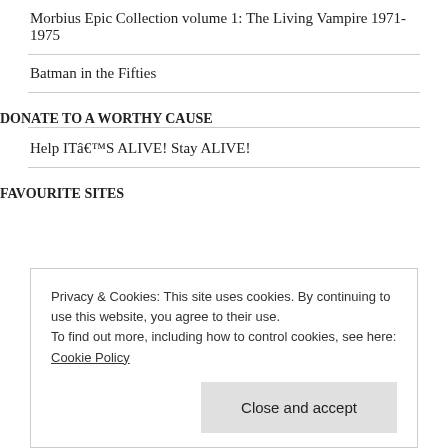Morbius Epic Collection volume 1: The Living Vampire 1971-1975
Batman in the Fifties
DONATE TO A WORTHY CAUSE
Help ITâ€™S ALIVE! Stay ALIVE!
FAVOURITE SITES
Privacy & Cookies: This site uses cookies. By continuing to use this website, you agree to their use.
To find out more, including how to control cookies, see here: Cookie Policy
Close and accept